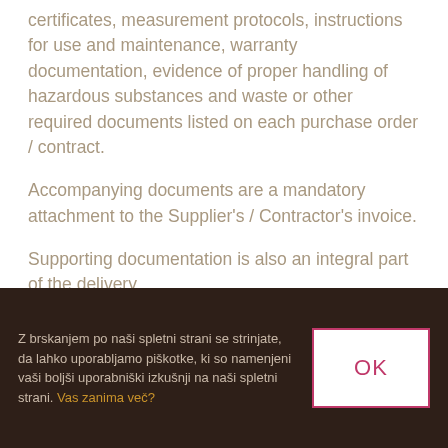certificates, measurement protocols, instructions for use and maintenance, warranty documentation, evidence of proper handling of hazardous substances and waste or other required documents listed on each purchase order / contract.
Accompanying documents are a mandatory attachment to the Supplier's / Contractor's invoice.
Supporting documentation is also an integral part of the delivery.
Z brskanjem po naši spletni strani se strinjate, da lahko uporabljamo piškotke, ki so namenjeni vaši boljši uporabniški izkušnji na naši spletni strani. Vas zanima več?